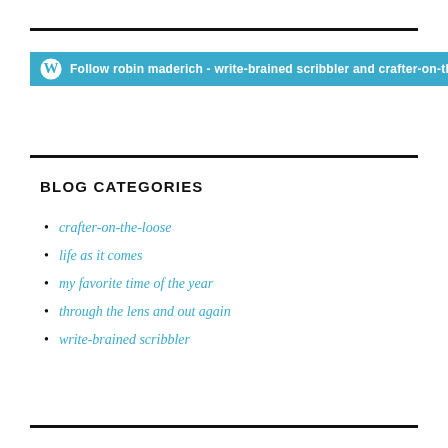Follow robin maderich - write-brained scribbler and crafter-on-the-loose
BLOG CATEGORIES
crafter-on-the-loose
life as it comes
my favorite time of the year
through the lens and out again
write-brained scribbler